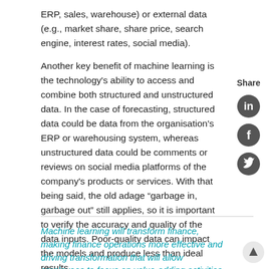ERP, sales, warehouse) or external data (e.g., market share, share price, search engine, interest rates, social media).
Another key benefit of machine learning is the technology's ability to access and combine both structured and unstructured data. In the case of forecasting, structured data could be data from the organisation's ERP or warehousing system, whereas unstructured data could be comments or reviews on social media platforms of the company's products or services. With that being said, the old adage “garbage in, garbage out” still applies, so it is important to verify the accuracy and quality of the data inputs. Poor-quality data can impact the models and produce less than ideal results.
[Figure (other): Social sharing sidebar with Share label and LinkedIn, Facebook, Twitter icons]
Machine learning will transform finance, making finance operations more effective and driving transformation that will allow employees to focus on value-adding activities such as enhancing their